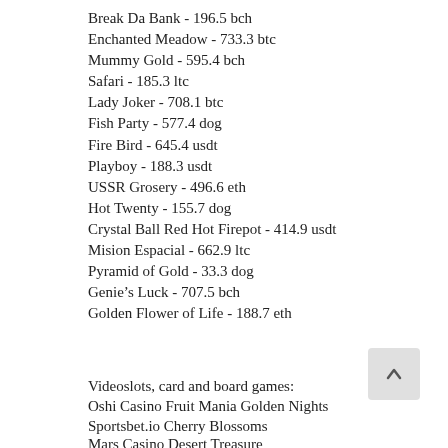Break Da Bank - 196.5 bch
Enchanted Meadow - 733.3 btc
Mummy Gold - 595.4 bch
Safari - 185.3 ltc
Lady Joker - 708.1 btc
Fish Party - 577.4 dog
Fire Bird - 645.4 usdt
Playboy - 188.3 usdt
USSR Grosery - 496.6 eth
Hot Twenty - 155.7 dog
Crystal Ball Red Hot Firepot - 414.9 usdt
Mision Espacial - 662.9 ltc
Pyramid of Gold - 33.3 dog
Genie’s Luck - 707.5 bch
Golden Flower of Life - 188.7 eth
Videoslots, card and board games:
Oshi Casino Fruit Mania Golden Nights
Sportsbet.io Cherry Blossoms
Mars Casino Desert Treasure